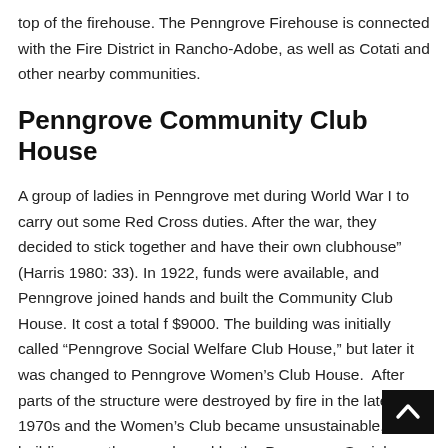top of the firehouse. The Penngrove Firehouse is connected with the Fire District in Rancho-Adobe, as well as Cotati and other nearby communities.
Penngrove Community Club House
A group of ladies in Penngrove met during World War I to carry out some Red Cross duties. After the war, they decided to stick together and have their own clubhouse” (Harris 1980: 33). In 1922, funds were available, and Penngrove joined hands and built the Community Club House. It cost a total f $9000. The building was initially called “Penngrove Social Welfare Club House,” but later it was changed to Penngrove Women’s Club House. After parts of the structure were destroyed by fire in the late 1970s and the Women’s Club became unsustainable, the building was then purchased by the Penngrove Social F... It is now a venue where various events such as fundraisers, voting,